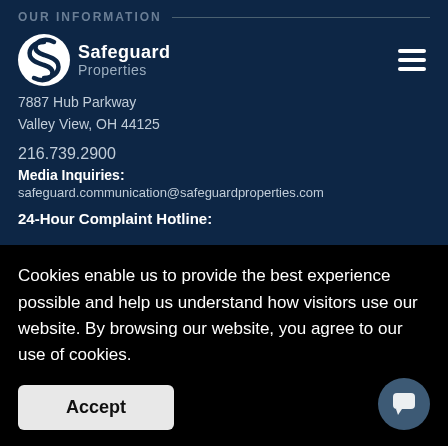OUR INFORMATION
[Figure (logo): Safeguard Properties logo with stylized S in circle]
Safeguard Properties
7887 Hub Parkway
Valley View, OH 44125
216.739.2900
Media Inquiries:
safeguard.communication@safeguardproperties.com
24-Hour Complaint Hotline:
Cookies enable us to provide the best experience possible and help us understand how visitors use our website. By browsing our website, you agree to our use of cookies.